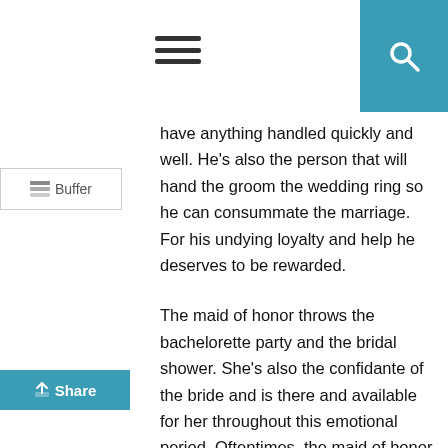have anything handled quickly and well. He's also the person that will hand the groom the wedding ring so he can consummate the marriage. For his undying loyalty and help he deserves to be rewarded.
The maid of honor throws the bachelorette party and the bridal shower. She's also the confidante of the bride and is there and available for her throughout this emotional period. Oftentimes, the maid of honor has to put her own life aside for those weeks leading up to the wedding to make sure that she is available for her good friend the bride. For her undying devotion and hard work she also deserves a nice gift.
Consider offering the best man and the maid of honor a weekend stay at a local resort. The odds